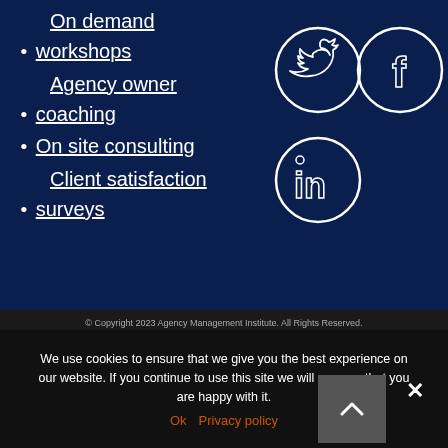On demand workshops
Agency owner coaching
On site consulting
Client satisfaction surveys
[Figure (illustration): Social media icons: Twitter bird, Facebook F, and LinkedIn in circles on dark navy background]
© Copyright 2023 Agency Management Institute. All Rights Reserved.
We use cookies to ensure that we give you the best experience on our website. If you continue to use this site we will assume that you are happy with it.
Ok  Privacy policy